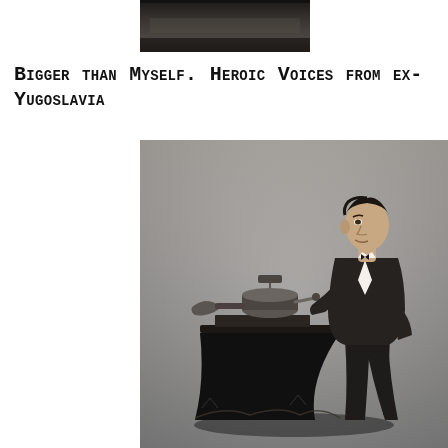[Figure (photo): Top partial black and white photograph, cropped, showing bottom of an image - dark tones, appears to be a continuation of the photo below]
Bigger than Myself. Heroic Voices from ex-Yugoslavia
[Figure (photo): Black and white historical photograph of a man in a suit sitting next to a table with an early phonograph/recording device on it. The man is seated in profile, looking toward the camera. The image has a studio portrait quality typical of late 19th century photography.]